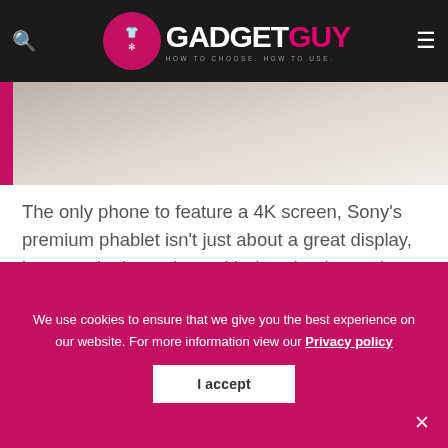GADGET GUY — HOW TO CHOOSE. HOW TO USE.
[Figure (photo): Partial photo of a Sony phone phablet device on a light background]
The only phone to feature a 4K screen, Sony's premium phablet isn't just about a great display, because it also arrives with download speeds as fast as 300Mbps thanks to the Category 6 tech found inside (as does the rest of the Z5 family).
Read our review
We use cookies to ensure that we give you the best experience on our website. For more information view our Privacy policy
I accept